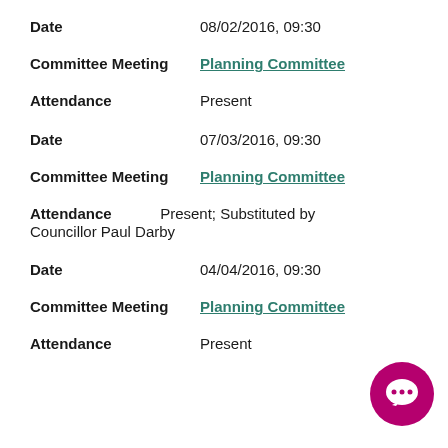Date    08/02/2016, 09:30
Committee Meeting    Planning Committee
Attendance    Present
Date    07/03/2016, 09:30
Committee Meeting    Planning Committee
Attendance    Present; Substituted by Councillor Paul Darby
Date    04/04/2016, 09:30
Committee Meeting    Planning Committee
Attendance    Present